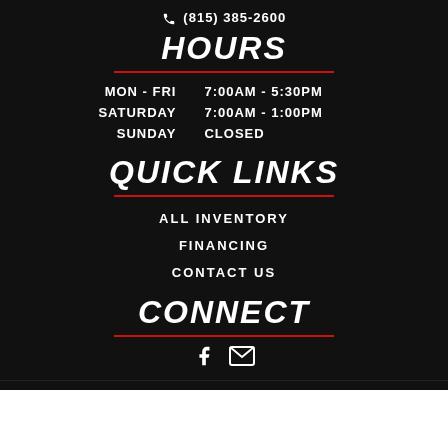(815) 385-2600
HOURS
| Day | Hours |
| --- | --- |
| MON - FRI | 7:00AM - 5:30PM |
| SATURDAY | 7:00AM - 1:00PM |
| SUNDAY | CLOSED |
QUICK LINKS
ALL INVENTORY
FINANCING
CONTACT US
CONNECT
[Figure (logo): Facebook icon and email icon]
[Figure (logo): TrailerCentral.com logo with globe/arrow icon]
© 2022 KNAPHEIDE TRUCK